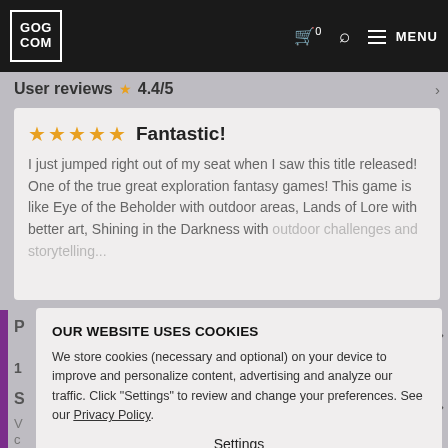GOG.COM — navigation bar with cart (0), search, and menu
User reviews ★ 4.4/5
★★★★★  Fantastic!
I just jumped right out of my seat when I saw this title released! One of the true great exploration fantasy games! This game is like Eye of the Beholder with outdoor areas, Lands of Lore with better art, Shining in the Darkness with
OUR WEBSITE USES COOKIES
We store cookies (necessary and optional) on your device to improve and personalize content, advertising and analyze our traffic. Click "Settings" to review and change your preferences. See our Privacy Policy.
Settings
Accept all cookies